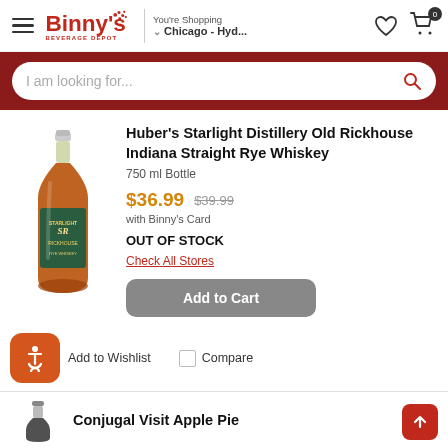Binny's Beverage Depot — You're Shopping Chicago - Hyd...
I am looking for...
Huber's Starlight Distillery Old Rickhouse Indiana Straight Rye Whiskey
750 ml Bottle
$36.99  $39.99 with Binny's Card
OUT OF STOCK
Check All Stores
Add to Cart
Add to Wishlist
Compare
Conjugal Visit Apple Pie